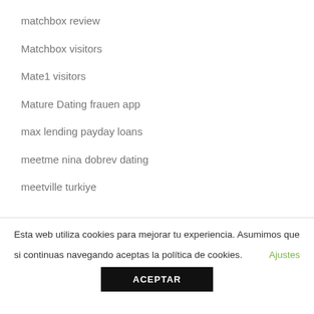matchbox review
Matchbox visitors
Mate1 visitors
Mature Dating frauen app
max lending payday loans
meetme nina dobrev dating
meetville turkiye
Esta web utiliza cookies para mejorar tu experiencia. Asumimos que si continuas navegando aceptas la política de cookies. Ajustes ACEPTAR